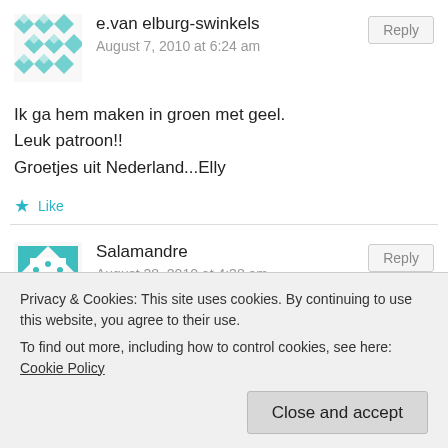[Figure (illustration): Green geometric/diamond pattern avatar for user e.van elburg-swinkels]
e.van elburg-swinkels
August 7, 2010 at 6:24 am
Reply
Ik ga hem maken in groen met geel.
Leuk patroon!!
Groetjes uit Nederland...Elly
Like
[Figure (illustration): Teal geometric/pinwheel pattern avatar for user Salamandre]
Salamandre
August 28, 2010 at 4:38 am
Reply
Thanks a lot for this pattern ! This was my first amigurumi and I didn't match any particular problem. Well, as you can see on my
Privacy & Cookies: This site uses cookies. By continuing to use this website, you agree to their use.
To find out more, including how to control cookies, see here: Cookie Policy
Close and accept
anyway thanks to you I made a man happy !